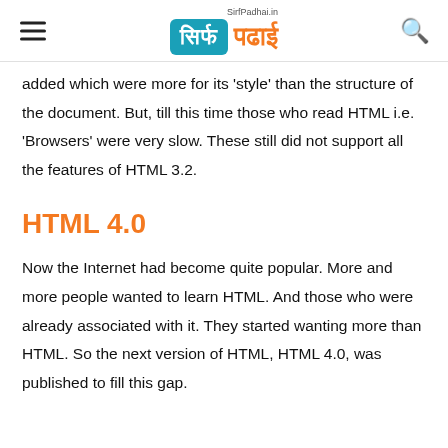SirfPadhai.in — सिर्फ पढाई
added which were more for its 'style' than the structure of the document. But, till this time those who read HTML i.e. 'Browsers' were very slow. These still did not support all the features of HTML 3.2.
HTML 4.0
Now the Internet had become quite popular. More and more people wanted to learn HTML. And those who were already associated with it. They started wanting more than HTML. So the next version of HTML, HTML 4.0, was published to fill this gap.